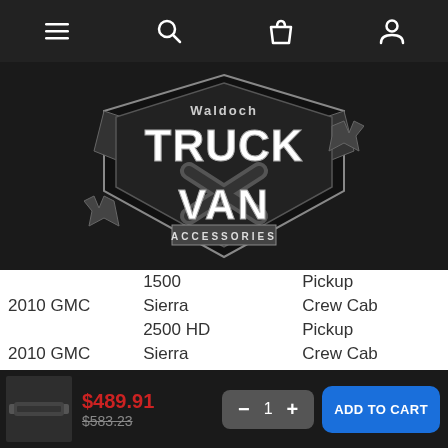[Figure (logo): Waldoch Truck Van Accessories logo - white and grey angular truck-shaped emblem on dark background]
|  | 1500 | Pickup |
| 2010 GMC | Sierra 2500 HD | Crew Cab Pickup |
| 2010 GMC | Sierra 3500 HD | Crew Cab Pickup |
| 2011 Chevrolet | Silverado 1500 | Crew Cab Pickup |
$489.91  $583.23  1  ADD TO CART